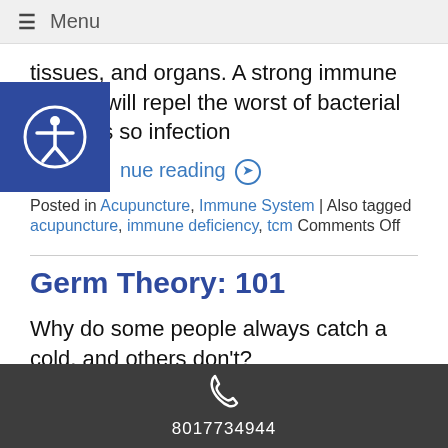Menu
tissues, and organs. A strong immune system will repel the worst of bacterial invaders so infection
Continue reading →
Posted in Acupuncture, Immune System | Also tagged acupuncture, immune deficiency, tcm Comments Off
Germ Theory: 101
Why do some people always catch a cold, and others don't?
8017734944